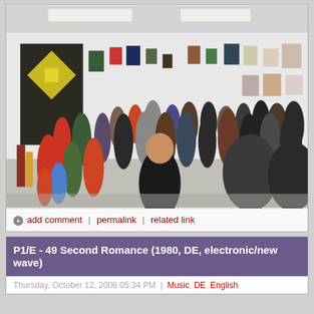[Figure (photo): Indoor gallery or exhibition space crowded with people. White walls covered with framed artwork and prints. Large abstract black and yellow painting visible on left wall. Fluorescent lighting on ceiling. A speaker or presenter stands with back to camera in foreground addressing the crowd.]
add comment | permalink | related link
P1/E - 49 Second Romance (1980, DE, electronic/new wave)
Thursday, October 12, 2006 05:34 PM | Music, DE, English